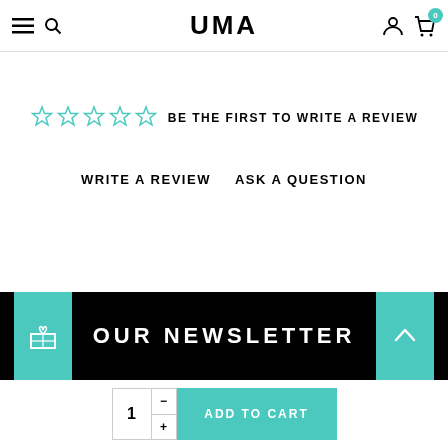UMA — navigation header with hamburger menu, search, account, and cart icons
☆☆☆☆☆ BE THE FIRST TO WRITE A REVIEW
WRITE A REVIEW  ASK A QUESTION
OUR NEWSLETTER
ADD TO CART